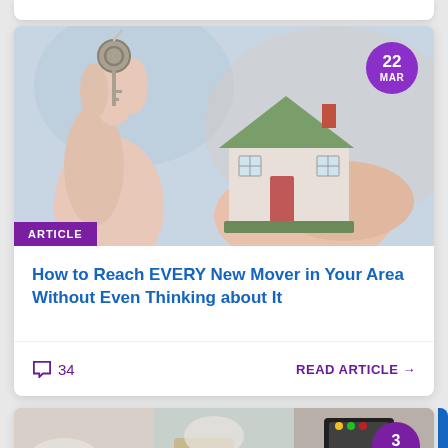[Figure (photo): Person holding a house key and a miniature house model, representing real estate or new mover marketing]
ARTICLE
22 MAR
How to Reach EVERY New Mover in Your Area Without Even Thinking about It
34
READ ARTICLE →
[Figure (photo): Jewelry store scene with payment terminal, partially visible, dated 3 JAN]